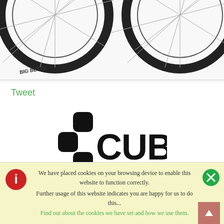[Figure (photo): Partial view of a mountain bike showing front and rear wheels with tires labeled 'BIG BETTY' and 'MAGIC MARY'. The bike frame and components are visible from below.]
Tweet
[Figure (logo): CUBE bicycle brand logo in black — a stylized cross/plus symbol followed by the word CUBE in bold sans-serif lettering.]
£6199.00
We have placed cookies on your browsing device to enable this website to function correctly.
Further usage of this website indicates you are happy for us to do this...
Find out about the cookies we have set and how we use them.